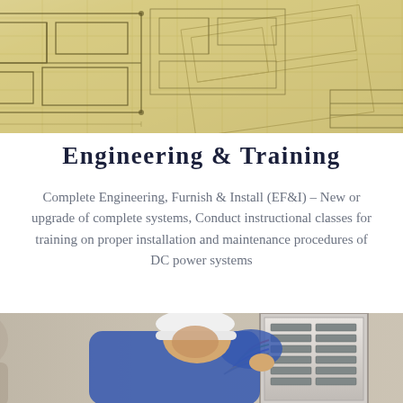[Figure (photo): Overhead view of architectural/engineering blueprint drawings spread out, with technical diagrams and grid lines visible, sepia-toned]
Engineering & Training
Complete Engineering, Furnish & Install (EF&I) – New or upgrade of complete systems, Conduct instructional classes for training on proper installation and maintenance procedures of DC power systems
[Figure (photo): A worker wearing a white hard hat and blue coveralls leaning over an open electrical panel/circuit breaker box mounted on a wall, inspecting or working on the wiring]